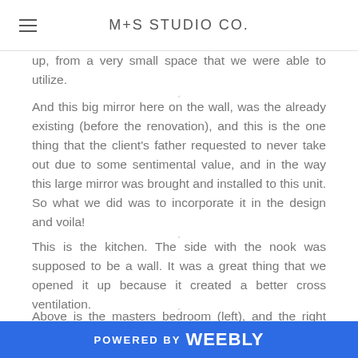M+S STUDIO CO.
up, from a very small space that we were able to utilize.
And this big mirror here on the wall, was the already existing (before the renovation), and this is the one thing that the client's father requested to never take out due to some sentimental value, and in the way this large mirror was brought and installed to this unit. So what we did was to incorporate it in the design and voila!
This is the kitchen. The side with the nook was supposed to be a wall. It was a great thing that we opened it up because it created a better cross ventilation.
Above is the masters bedroom (left), and the right photo
POWERED BY weebly